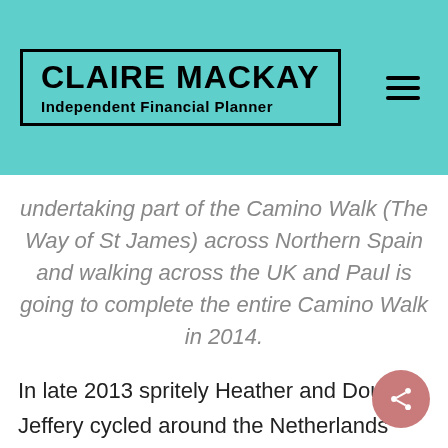CLAIRE MACKAY Independent Financial Planner
undertaking part of the Camino Walk (The Way of St James) across Northern Spain and walking across the UK and Paul is going to complete the entire Camino Walk in 2014.
In late 2013 spritely Heather and Doug Jeffery cycled around the Netherlands and they shared some shots their other